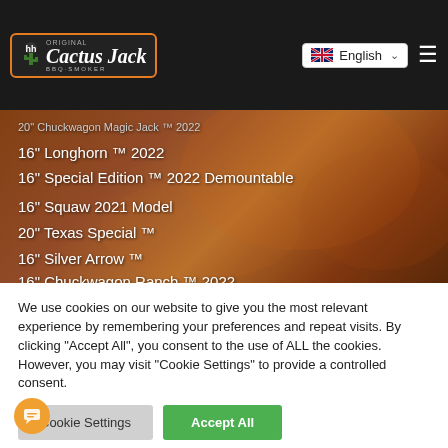[Figure (logo): Cactus Jack BBQ Smoker logo with orange border badge and cactus icon]
20" Chuckwagon Magic Jack ™ 2022
16" Longhorn ™ 2022
16" Special Edition ™ 2022 Demountable
16" Squaw 2021 Model
20" Texas Special ™
16" Silver Arrow ™
16" Chuckwagon Ranch ™ 2022
16" Indiana Joe 2022
We use cookies on our website to give you the most relevant experience by remembering your preferences and repeat visits. By clicking "Accept All", you consent to the use of ALL the cookies. However, you may visit "Cookie Settings" to provide a controlled consent.